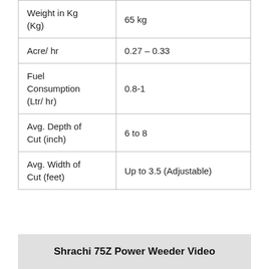| Weight in Kg (Kg) | 65 kg |
| Acre/ hr | 0.27 – 0.33 |
| Fuel Consumption (Ltr/ hr) | 0.8-1 |
| Avg. Depth of Cut (inch) | 6 to 8 |
| Avg. Width of Cut (feet) | Up to 3.5 (Adjustable) |
Shrachi 75Z Power Weeder Video